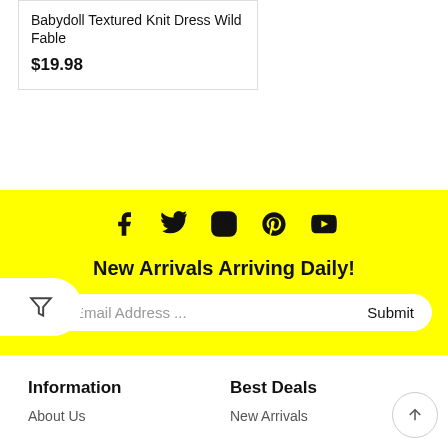Babydoll Textured Knit Dress Wild Fable
$19.98
[Figure (infographic): Social media icons row: Facebook, Twitter, Instagram, Pinterest, YouTube on yellow background]
New Arrivals Arriving Daily!
Enter Email Address ... Submit
Information
Best Deals
About Us
New Arrivals